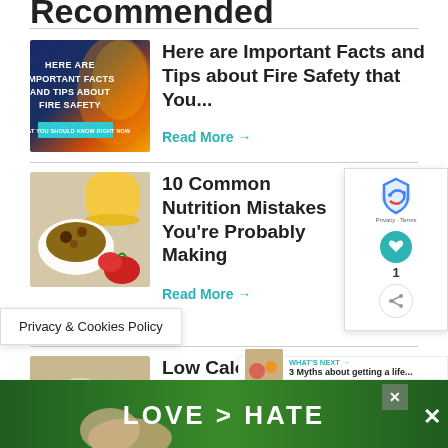Recommended
[Figure (illustration): Fire safety article thumbnail — dark blue and orange background with text 'HERE ARE IMPORTANT FACTS AND TIPS ABOUT FIRE SAFETY' and a teal button]
Here are Important Facts and Tips about Fire Safety that You...
Read More →
[Figure (photo): Food photo showing granola bowl, orange juice, and strawberries]
10 Common Nutrition Mistakes You're Probably Making
Read More →
Privacy & Cookies Policy
[Figure (photo): Brunch food photo — overhead view of plates with food]
Low Calorie Brunch Ideas Made Especially...
[Figure (infographic): WHAT'S NEXT → 3 Myths about getting a life... widget with small food thumbnail]
[Figure (infographic): LOVE > HATE advertisement banner at bottom of page]